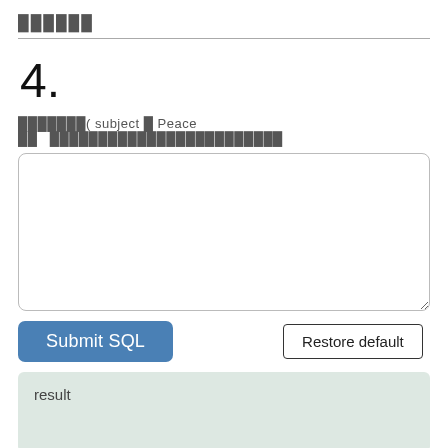██████
4.
███████( subject █ Peace ██   ████████████████████████
[Figure (screenshot): An empty SQL text input textarea with rounded corners]
[Figure (screenshot): Submit SQL button (blue, rounded) and Restore default button (outlined)]
result